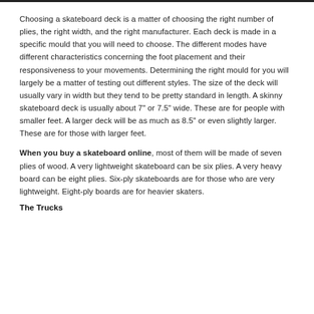Choosing a skateboard deck is a matter of choosing the right number of plies, the right width, and the right manufacturer. Each deck is made in a specific mould that you will need to choose. The different modes have different characteristics concerning the foot placement and their responsiveness to your movements. Determining the right mould for you will largely be a matter of testing out different styles. The size of the deck will usually vary in width but they tend to be pretty standard in length. A skinny skateboard deck is usually about 7" or 7.5" wide. These are for people with smaller feet. A larger deck will be as much as 8.5" or even slightly larger. These are for those with larger feet.
When you buy a skateboard online, most of them will be made of seven plies of wood. A very lightweight skateboard can be six plies. A very heavy board can be eight plies. Six-ply skateboards are for those who are very lightweight. Eight-ply boards are for heavier skaters.
The Trucks